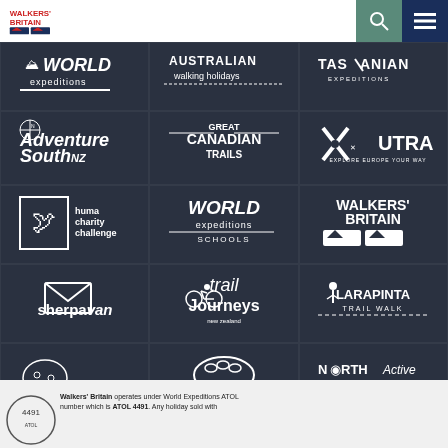[Figure (logo): Walkers Britain logo in header]
[Figure (logo): Search icon in header]
[Figure (logo): Menu icon in header]
[Figure (logo): Grid of partner logos: World Expeditions, Australian Walking Holidays, Tasmanian Expeditions, Adventure South NZ, Great Canadian Trails, UTracks, Huma Charity Challenge, World Expeditions Schools, Walkers Britain, Sherpa Van, Trail Journeys NZ, Larapinta Trail Walk, Australian Cycle Tours, Great Walks of New Zealand, North America Active]
Walkers' Britain operates under World Expeditions ATOL number which is ATOL 4491. Any holiday sold with
Ask an Expert